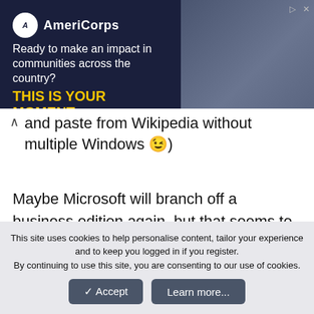[Figure (screenshot): AmeriCorps advertisement banner: dark navy background with AmeriCorps logo, text 'Ready to make an impact in communities across the country?' and 'THIS IS YOUR MOMENT.' in yellow, with a Learn More button and a photo of people on the right.]
and paste from Wikipedia without multiple Windows 😉)
Maybe Microsoft will branch off a business edition again, but that seems to be the opposite direction of travel to the smaller number of editions in Windows 8 compared to the number of editions for Windows 7.
So I hope that what Microsoft will do is to tidy up some of the Windows 8 oddities in a Service Pack, but keep
This site uses cookies to help personalise content, tailor your experience and to keep you logged in if you register.
By continuing to use this site, you are consenting to our use of cookies.